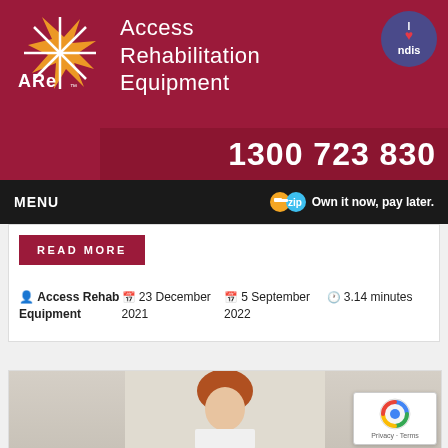[Figure (logo): Access Rehabilitation Equipment (ARE) logo with brand name in white text on crimson banner, NDIS badge top right, phone number 1300 723 830]
MENU   zip Own it now, pay later.
READ MORE
Access Rehab Equipment   23 December 2021   5 September 2022   3.14 minutes
[Figure (photo): Partial view of a person with reddish hair at bottom of page]